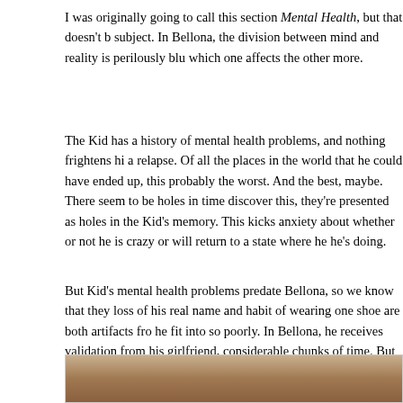I was originally going to call this section Mental Health, but that doesn't b subject. In Bellona, the division between mind and reality is perilously blu which one affects the other more.
The Kid has a history of mental health problems, and nothing frightens hi a relapse. Of all the places in the world that he could have ended up, this probably the worst. And the best, maybe. There seem to be holes in time discover this, they're presented as holes in the Kid's memory. This kicks anxiety about whether or not he is crazy or will return to a state where he he's doing.
But Kid's mental health problems predate Bellona, so we know that they loss of his real name and habit of wearing one shoe are both artifacts fro he fit into so poorly. In Bellona, he receives validation from his girlfriend, considerable chunks of time. But has he? Lanya later admits that there a she can't account. Fires that should consume the city in days continue ur certain food stores appear to restock themselves as though trapped in a episodic nature of DHALGREN and you have the makings of a place tha time. It begs the question of how people narrate their lives when reality its
[Figure (photo): Partial photograph visible at the bottom of the page, showing warm brown and tan tones, appears to be a close-up of a person or object.]